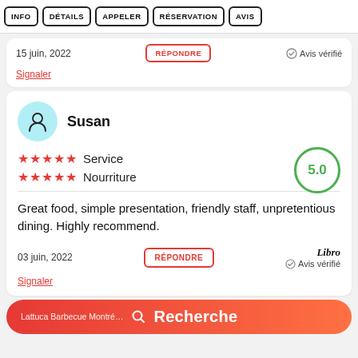INFO | DÉTAILS | APPELER | RÉSERVATION | AVIS
15 juin, 2022
RÉPONDRE
Avis vérifié
Signaler
Susan
★★★★★ Service
★★★★★ Nourriture
5.0
Great food, simple presentation, friendly staff, unpretentious dining. Highly recommend.
03 juin, 2022
RÉPONDRE
Avis vérifié
Signaler
Lattuca Barbecue Montré… Recherche